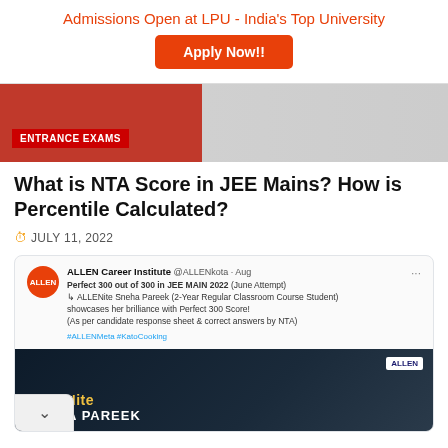Admissions Open at LPU - India's Top University
Apply Now!!
[Figure (photo): Red puzzle pieces hero image with ENTRANCE EXAMS badge]
What is NTA Score in JEE Mains? How is Percentile Calculated?
JULY 11, 2022
[Figure (screenshot): Tweet from ALLEN Career Institute about Perfect 300 out of 300 in JEE MAIN 2022 (June Attempt), ALLENite Sneha Pareek (2-Year Regular Classroom Course Student) showcases her brilliance with Perfect 300 Score! (As per candidate response sheet & correct answers by NTA). #ALLENMeta #KatoCooking. Below the tweet is an image showing ALLENite SNEHA PAREEK banner.]